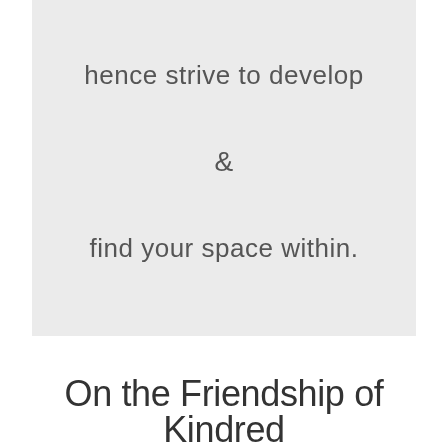hence strive to develop
&
find your space within.
On the Friendship of Kindred